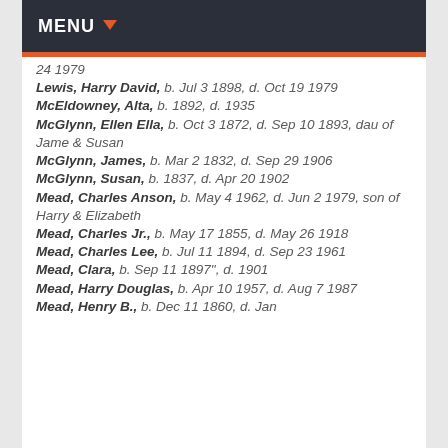MENU
24 1979
Lewis, Harry David, b. Jul 3 1898, d. Oct 19 1979
McEldowney, Alta, b. 1892, d. 1935
McGlynn, Ellen Ella, b. Oct 3 1872, d. Sep 10 1893, dau of Jame & Susan
McGlynn, James, b. Mar 2 1832, d. Sep 29 1906
McGlynn, Susan, b. 1837, d. Apr 20 1902
Mead, Charles Anson, b. May 4 1962, d. Jun 2 1979, son of Harry & Elizabeth
Mead, Charles Jr., b. May 17 1855, d. May 26 1918
Mead, Charles Lee, b. Jul 11 1894, d. Sep 23 1961
Mead, Clara, b. Sep 11 1897", d. 1901
Mead, Harry Douglas, b. Apr 10 1957, d. Aug 7 1987
Mead, Henry B., b. Dec 11 1860, d. Jan